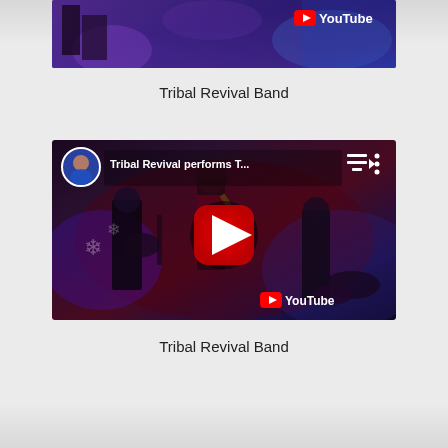[Figure (screenshot): Partial YouTube video thumbnail showing a band performing on stage with purple/blue stage lighting. YouTube logo visible in top right corner.]
Tribal Revival Band
[Figure (screenshot): YouTube video thumbnail showing Tribal Revival Band performing live. Title reads 'Tribal Revival performs T...' with channel icon, play button overlay, and YouTube logo. Band members playing guitar and saxophone with purple stage lighting.]
Tribal Revival Band